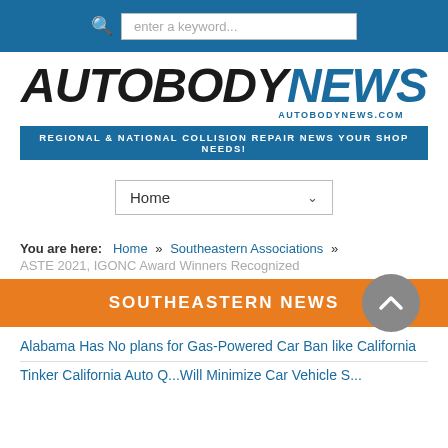enter a keyword...
[Figure (logo): AutoBody News logo with text AUTOBODYNEWS and AUTOBODYNEWS.COM]
REGIONAL & NATIONAL COLLISION REPAIR NEWS YOUR SHOP NEEDS!
Home
You are here: Home » Southeastern Associations »
ASTE 2021, IGONC Award Winners Recognized
SOUTHEASTERN NEWS
Alabama Has No plans for Gas-Powered Car Ban like California
Tinker California Auto Q...Will Minimize Car Vehicle S...